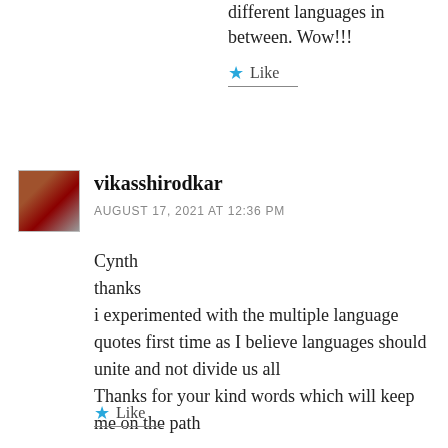different languages in between. Wow!!!
★ Like
vikasshirodkar
AUGUST 17, 2021 AT 12:36 PM
Cynth
thanks
i experimented with the multiple language quotes first time as I believe languages should unite and not divide us all
Thanks for your kind words which will keep me on the path
★ Like